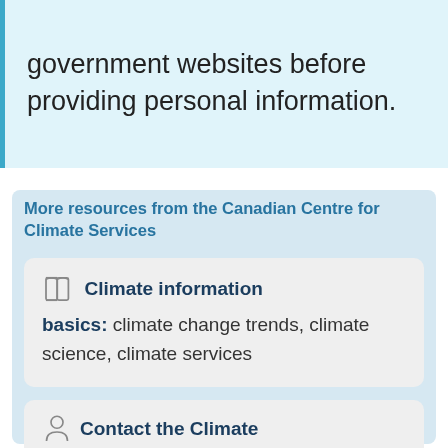government websites before providing personal information.
More resources from the Canadian Centre for Climate Services
Climate information basics: climate change trends, climate science, climate services
Contact the Climate